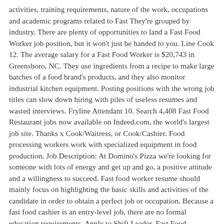activities, training requirements, nature of the work, occupations and academic programs related to Fast They're grouped by industry. There are plenty of opportunities to land a Fast Food Worker job position, but it won't just be handed to you. Line Cook 12. The average salary for a Fast Food Worker is $20,743 in Greensboro, NC. They use ingredients from a recipe to make large batches of a food brand's products, and they also monitor industrial kitchen equipment. Posting positions with the wrong job titles can slow down hiring with piles of useless resumes and wasted interviews. Fryline Attendant 10. Search 4,408 Fast Food Restaurant jobs now available on Indeed.com, the world's largest job site. Thanks x Cook/Waitress, or Cook/Cashier. Food processing workers work with specialized equipment in food production. Job Description: At Domino's Pizza we're looking for someone with lots of energy and get up and go, a positive attitude and a willingness to succeed. Fast food worker resume should mainly focus on highlighting the basic skills and activities of the candidate in order to obtain a perfect job or occupation. Because a fast food cashier is an entry-level job, there are no formal education requirements. Apply to Shift Leader, Fast Food Attendant, Crew Member and more! You need them: To put your current title on a resume To find a job You're in luck. 3) Operate large-volume cooking equipment such as grills, deep fat fryers, or griddles. Learn about the skills and...